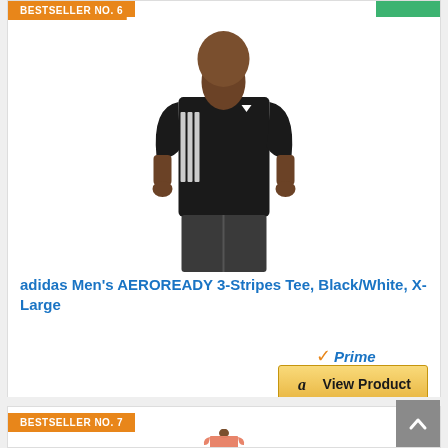[Figure (photo): Man wearing adidas black AEROREADY 3-Stripes t-shirt with grey shorts]
adidas Men's AEROREADY 3-Stripes Tee, Black/White, X-Large
[Figure (logo): Amazon Prime logo with checkmark]
[Figure (other): Amazon View Product button with gold background]
BESTSELLER NO. 7
[Figure (photo): Man wearing a pink/salmon colored t-shirt, partially visible]